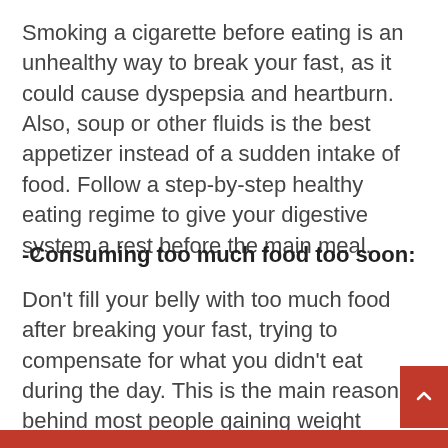Smoking a cigarette before eating is an unhealthy way to break your fast, as it could cause dyspepsia and heartburn. Also, soup or other fluids is the best appetizer instead of a sudden intake of food. Follow a step-by-step healthy eating regime to give your digestive system a rest before the main meal.
-Consuming too much food too soon:
Don't fill your belly with too much food after breaking your fast, trying to compensate for what you didn't eat during the day. This is the main reason behind most people gaining weight during Ramadan, besides making you feel lazy to get on your feet and exercise. Also,